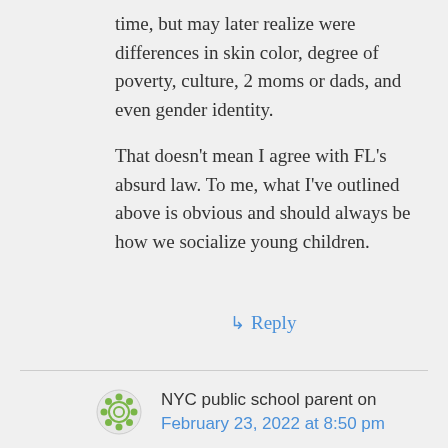time, but may later realize were differences in skin color, degree of poverty, culture, 2 moms or dads, and even gender identity.
That doesn't mean I agree with FL's absurd law. To me, what I've outlined above is obvious and should always be how we socialize young children.
↳ Reply
NYC public school parent on February 23, 2022 at 8:50 pm
What happens when a 5 year old has 2 dads and another kid asks about it? The teacher shuts her